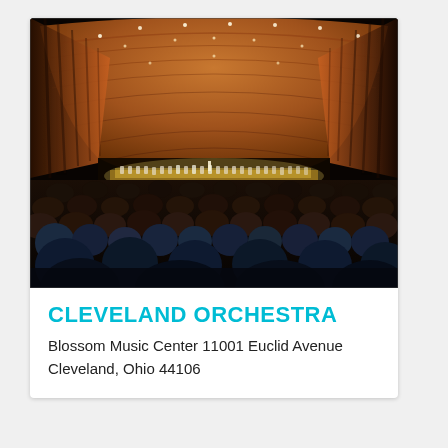[Figure (photo): Interior of Blossom Music Center amphitheater showing the curved wooden shell ceiling, an orchestra performing on stage with bright stage lighting, and audience members seated in the lower area in the foreground. The scene is viewed from behind the audience looking toward the stage.]
CLEVELAND ORCHESTRA
Blossom Music Center 11001 Euclid Avenue Cleveland, Ohio 44106